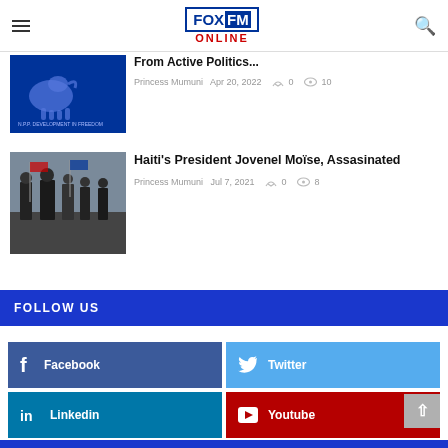[Figure (logo): Fox FM Online logo in header with hamburger menu and search icon]
From Active Politics...
Princess Mumuni  Apr 20, 2022  0  10
[Figure (photo): NPP Development in Freedom blue logo/banner]
Haiti's President Jovenel Moïse, Assasinated
Princess Mumuni  Jul 7, 2021  0  8
[Figure (photo): Photo of men in suits walking, appearing to be a formal military or state event]
FOLLOW US
Facebook
Twitter
Linkedin
Youtube